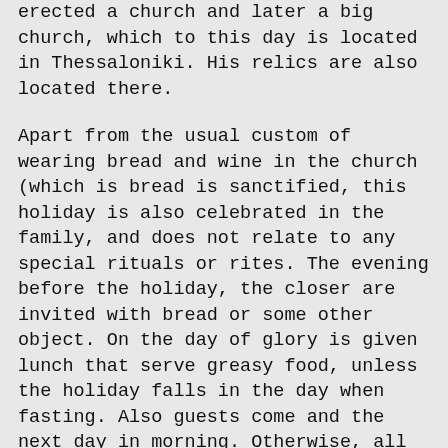erected a church and later a big church, which to this day is located in Thessaloniki. His relics are also located there.
Apart from the usual custom of wearing bread and wine in the church (which is bread is sanctified, this holiday is also celebrated in the family, and does not relate to any special rituals or rites. The evening before the holiday, the closer are invited with bread or some other object. On the day of glory is given lunch that serve greasy food, unless the holiday falls in the day when fasting. Also guests come and the next day in morning. Otherwise, all the people who called Dimitar, Dimitri, Dime Mitre, Mitra, Dimitra or some other variation, celebrate the name day, which is done at night.